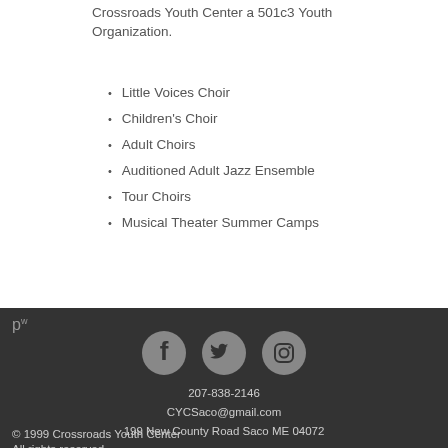Crossroads Youth Center a 501c3 Youth Organization.
Little Voices Choir
Children's Choir
Adult Choirs
Auditioned Adult Jazz Ensemble
Tour Choirs
Musical Theater Summer Camps
[Figure (logo): Social media icons: Facebook, Twitter, Instagram in gray circles on dark background]
207-838-2146
CYCSaco@gmail.com
199 New County Road Saco ME 04072
© 1999 Crossroads Youth Center
All rights reserved